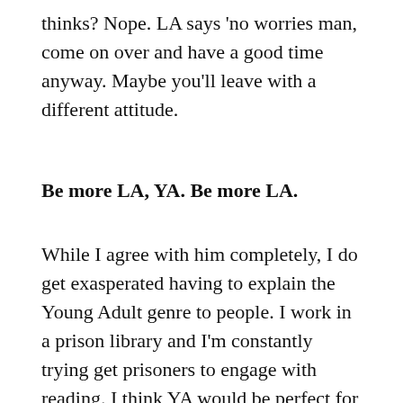thinks? Nope. LA says 'no worries man, come on over and have a good time anyway. Maybe you'll leave with a different attitude.
Be more LA, YA. Be more LA.
While I agree with him completely, I do get exasperated having to explain the Young Adult genre to people. I work in a prison library and I'm constantly trying get prisoners to engage with reading. I think YA would be perfect for them, but they look at me like I'm mad. But why would you/I read that? It's for children. Sigh. But no more, I'm going to be more LA, too!
There was lots more discussion, but those were